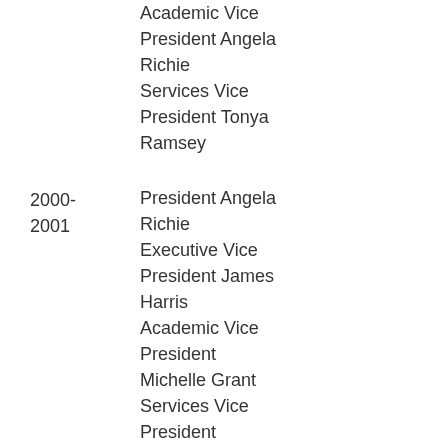Academic Vice President Angela Richie Services Vice President Tonya Ramsey
2000-2001 President Angela Richie Executive Vice President James Harris Academic Vice President Michelle Grant Services Vice President Shannon Rickett
2001-2002 President Carlton Brown Executive Vice